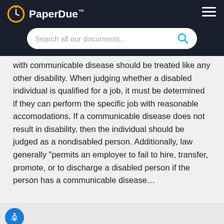PaperDue™
with communicable disease should be treated like any other disability. When judging whether a disabled individual is qualified for a job, it must be determined if they can perform the specific job with reasonable accomodations. If a communicable disease does not result in disability, then the individual should be judged as a nondisabled person. Additionally, law generally "permits an employer to fail to hire, transfer, promote, or to discharge a disabled person if the person has a communicable disease...